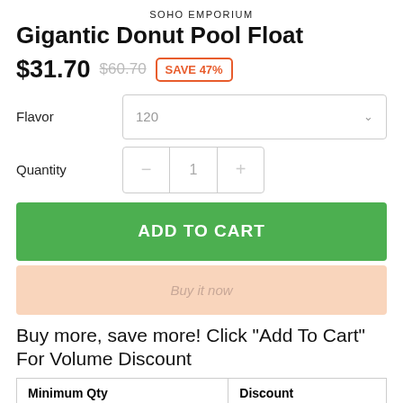SOHO EMPORIUM
Gigantic Donut Pool Float
$31.70  $60.70  SAVE 47%
Flavor  120
Quantity  1
ADD TO CART
Buy it now
Buy more, save more! Click "Add To Cart" For Volume Discount
| Minimum Qty | Discount |
| --- | --- |